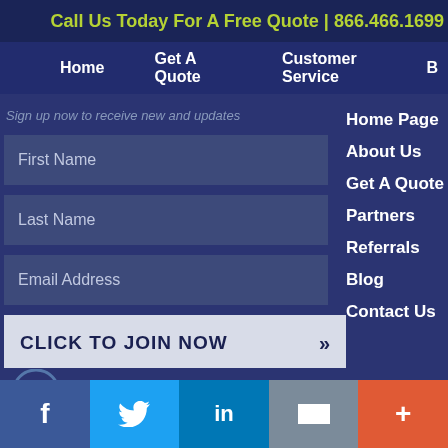Call Us Today For A Free Quote | 866.466.1699
Home
Get A Quote
Customer Service
Sign up now to receive new and updates
First Name
Last Name
Email Address
CLICK TO JOIN NOW »
Home Page
About Us
Get A Quote
Partners
Referrals
Blog
Contact Us
We have the expertise to find you the rig